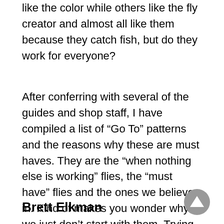like the color while others like the fly creator and almost all like them because they catch fish, but do they work for everyone?
After conferring with several of the guides and shop staff, I have compiled a list of “Go To” patterns and the reasons why these are must haves. They are the “when nothing else is working” flies, the “must have” flies and the ones we believe in. Kind of makes you wonder why we just don’t start with them. Trying to get this exclusive and secretive info was like pulling teeth, but in the end, I got them to reveal a few.
Brett Elkman